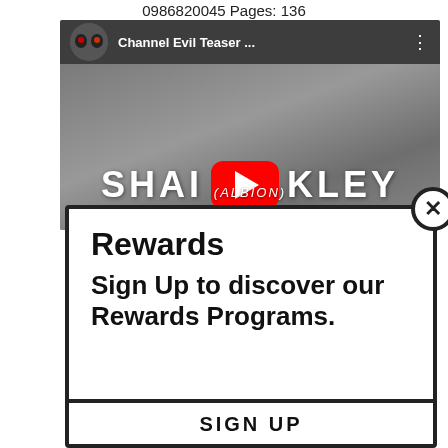0986820045 Pages: 136
[Figure (screenshot): YouTube video thumbnail for 'Channel Evil Teaser ...' showing 'SHAOKLEY (ALBION)' with a red YouTube play button overlay, on a gray background.]
Rewards
Sign Up to discover our Rewards Programs.
SIGN UP